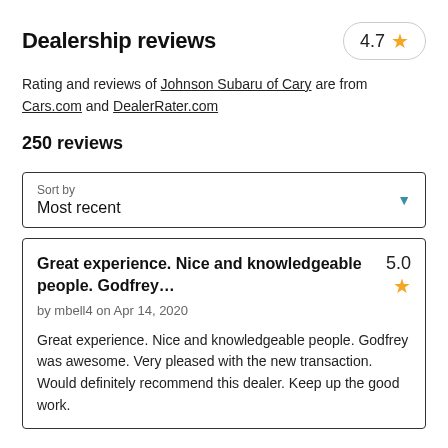Dealership reviews
4.7 ★
Rating and reviews of Johnson Subaru of Cary are from Cars.com and DealerRater.com
250 reviews
Sort by
Most recent
Great experience. Nice and knowledgeable people. Godfrey…
5.0 ★
by mbell4 on Apr 14, 2020
Great experience. Nice and knowledgeable people. Godfrey was awesome. Very pleased with the new transaction. Would definitely recommend this dealer. Keep up the good work.